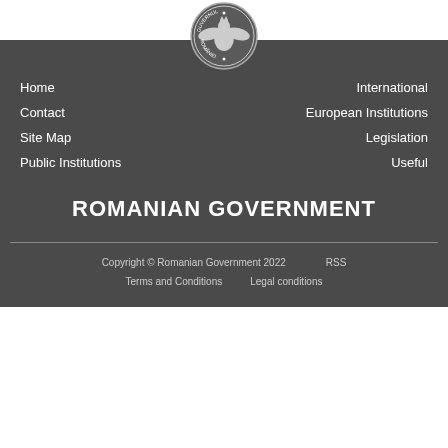[Figure (logo): Guvernul Romaniei circular seal/logo with eagle emblem]
Home
Contact
Site Map
Public Institutions
International
European Institutions
Legislation
Useful
ROMANIAN GOVERNMENT
Copyright © Romanian Government 2022   RSS   Terms and Conditions   Legal conditions